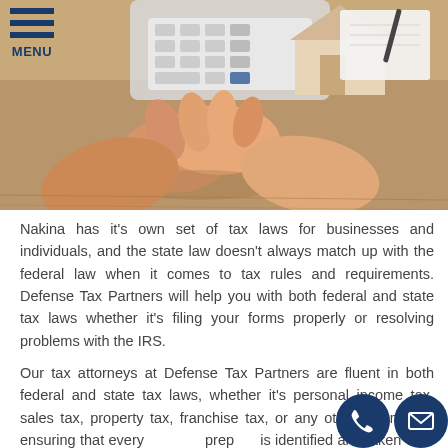[Figure (photo): Overhead photo of hands clasped together on a desk with a calculator, notepad, pen, and small house model — a tax consultation scene.]
Nakina has it's own set of tax laws for businesses and individuals, and the state law doesn't always match up with the federal law when it comes to tax rules and requirements. Defense Tax Partners will help you with both federal and state tax laws whether it's filing your forms properly or resolving problems with the IRS.
Our tax attorneys at Defense Tax Partners are fluent in both federal and state tax laws, whether it's personal income tax, sales tax, property tax, franchise tax, or any other tax matter, ensuring that every preparation is identified and taken care of. Our professional lawyers will